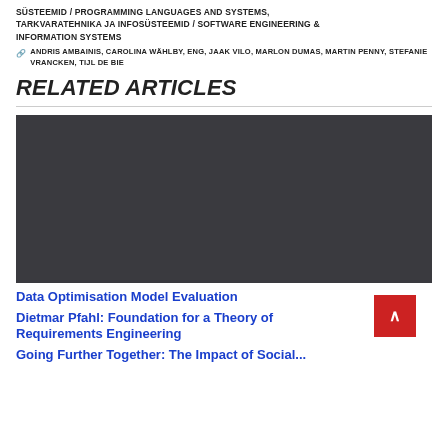SÜSTEEMID / PROGRAMMING LANGUAGES AND SYSTEMS, TARKVARATEHNIKA JA INFOSÜSTEEMID / SOFTWARE ENGINEERING & INFORMATION SYSTEMS
🔗 ANDRIS AMBAINIS, CAROLINA WÄHLBY, ENG, JAAK VILO, MARLON DUMAS, MARTIN PENNY, STEFANIE VRANCKEN, TIJL DE BIE
RELATED ARTICLES
[Figure (photo): Dark grey rectangular image placeholder for a related article thumbnail]
Data Optimisation Model Evaluation
Dietmar Pfahl: Foundation for a Theory of Requirements Engineering
Going Further Together: The Impact of Social...